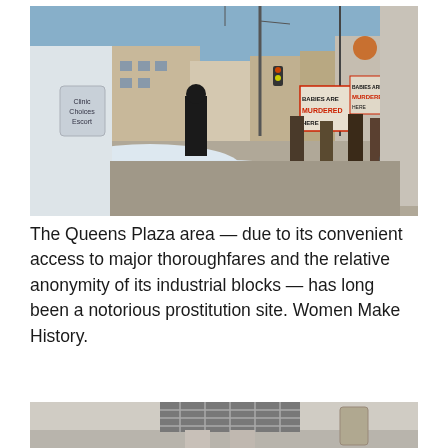[Figure (photo): Street scene showing protesters holding signs reading 'BABIES ARE MURDERED HERE' on a sidewalk in winter with snow on the ground. A person in a white coat with a 'Clinic Choices Escort' badge is visible in the foreground.]
The Queens Plaza area — due to its convenient access to major thoroughfares and the relative anonymity of its industrial blocks — has long been a notorious prostitution site. Women Make History.
[Figure (photo): Partial view of a person wearing a plaid/checkered skirt, cropped at the bottom of the page.]